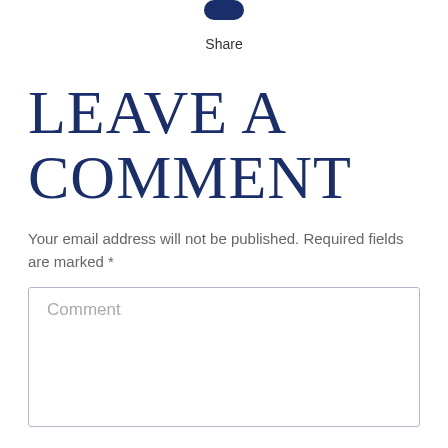[Figure (other): Share button icon (partially cropped at top)]
Share
Leave a comment
Your email address will not be published. Required fields are marked *
Comment